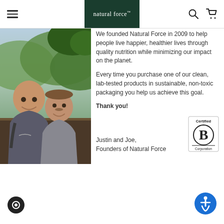natural force
[Figure (photo): Two smiling men posing outdoors on a wooded hillside overlook, one bald and one with short hair and a small mustache, both wearing t-shirts. Green forested mountains visible in background.]
We founded Natural Force in 2009 to help people live happier, healthier lives through quality nutrition while minimizing our impact on the planet.

Every time you purchase one of our clean, lab-tested products in sustainable, non-toxic packaging you help us achieve this goal.

Thank you!

Justin and Joe,
Founders of Natural Force
[Figure (logo): Certified B Corporation badge — circular black B logo with 'Certified' above and 'Corporation' below in a rectangular border.]
[Figure (other): Blue circular accessibility icon button in bottom right corner.]
[Figure (other): Dark circular chat icon button in bottom left corner.]